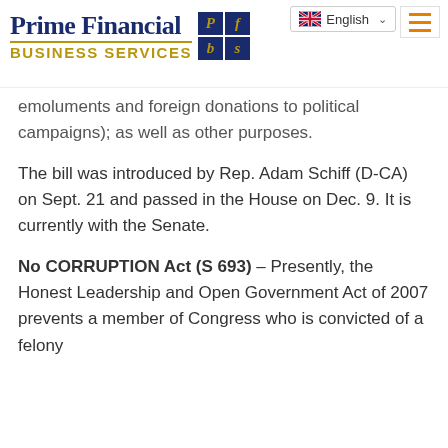Prime Financial Business Services
emoluments and foreign donations to political campaigns); as well as other purposes.
The bill was introduced by Rep. Adam Schiff (D-CA) on Sept. 21 and passed in the House on Dec. 9. It is currently with the Senate.
No CORRUPTION Act (S 693) – Presently, the Honest Leadership and Open Government Act of 2007 prevents a member of Congress who is convicted of a felony